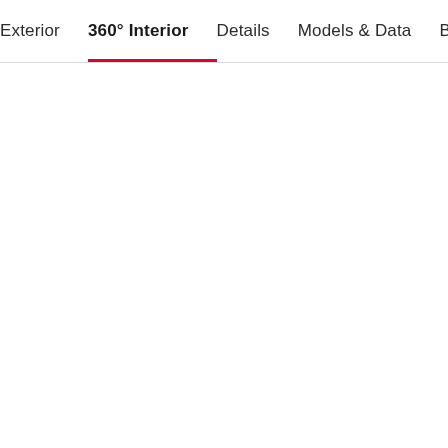Exterior  360° Interior  Details  Models & Data  Buil